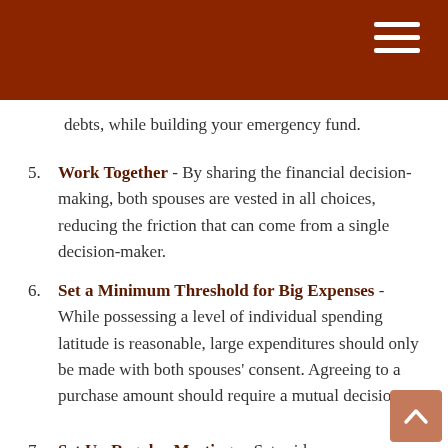debts, while building your emergency fund.
5. Work Together - By sharing the financial decision-making, both spouses are vested in all choices, reducing the friction that can come from a single decision-maker.
6. Set a Minimum Threshold for Big Expenses - While possessing a level of individual spending latitude is reasonable, large expenditures should only be made with both spouses' consent. Agreeing to a purchase amount should require a mutual decision.
7. Set Up Regular Meetings - Set aside a predetermined time once or twice a month to discuss finances. Talk about budgeting, upcoming expenses, and any changes in circumstances.